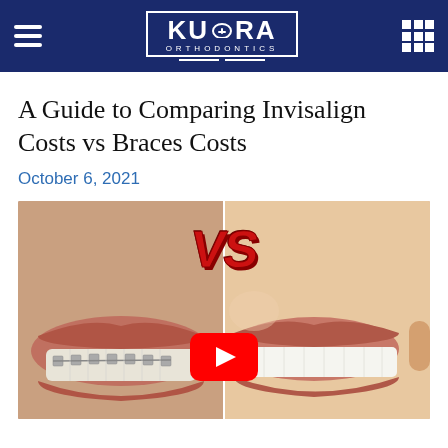KUORA ORTHODONTICS
A Guide to Comparing Invisalign Costs vs Braces Costs
October 6, 2021
[Figure (photo): Split image showing two smiling mouths: the left side shows metal braces on teeth, the right side shows clear/aligned teeth (Invisalign). A red 'VS' text overlay appears at the top center, and a YouTube play button is centered on the image.]